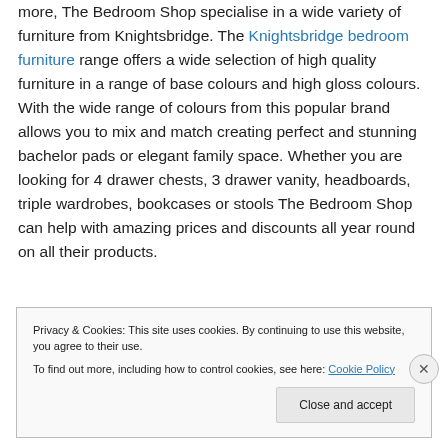more, The Bedroom Shop specialise in a wide variety of furniture from Knightsbridge. The Knightsbridge bedroom furniture range offers a wide selection of high quality furniture in a range of base colours and high gloss colours. With the wide range of colours from this popular brand allows you to mix and match creating perfect and stunning bachelor pads or elegant family space. Whether you are looking for 4 drawer chests, 3 drawer vanity, headboards, triple wardrobes, bookcases or stools The Bedroom Shop can help with amazing prices and discounts all year round on all their products.
Privacy & Cookies: This site uses cookies. By continuing to use this website, you agree to their use. To find out more, including how to control cookies, see here: Cookie Policy